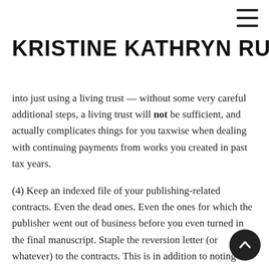KRISTINE KATHRYN RUSCH
into just using a living trust — without some very careful additional steps, a living trust will not be sufficient, and actually complicates things for you taxwise when dealing with continuing payments from works you created in past tax years.
(4) Keep an indexed file of your publishing-related contracts. Even the dead ones. Even the ones for which the publisher went out of business before you even turned in the final manuscript. Staple the reversion letter (or whatever) to the contracts. This is in addition to noting